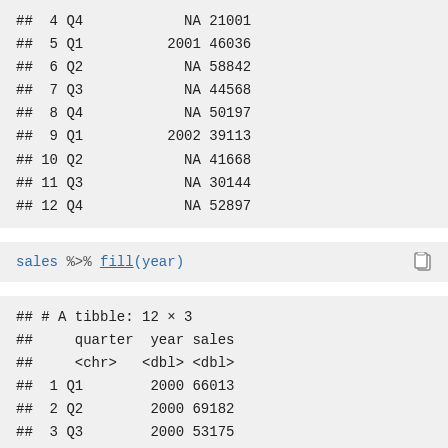##  4 Q4            NA 21001
##  5 Q1          2001 46036
##  6 Q2            NA 58842
##  7 Q3            NA 44568
##  8 Q4            NA 50197
##  9 Q1          2002 39113
## 10 Q2            NA 41668
## 11 Q3            NA 30144
## 12 Q4            NA 52897
sales %>% fill(year)
## # A tibble: 12 x 3
##     quarter  year  sales
##     <chr>   <dbl>  <dbl>
##  1 Q1        2000  66013
##  2 Q2        2000  69182
##  3 Q3        2000  53175
##  4 Q4        2000  21001